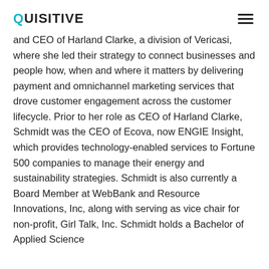QUISITIVE
and CEO of Harland Clarke, a division of Vericasi, where she led their strategy to connect businesses and people how, when and where it matters by delivering payment and omnichannel marketing services that drove customer engagement across the customer lifecycle. Prior to her role as CEO of Harland Clarke, Schmidt was the CEO of Ecova, now ENGIE Insight, which provides technology-enabled services to Fortune 500 companies to manage their energy and sustainability strategies. Schmidt is also currently a Board Member at WebBank and Resource Innovations, Inc, along with serving as vice chair for non-profit, Girl Talk, Inc. Schmidt holds a Bachelor of Applied Science